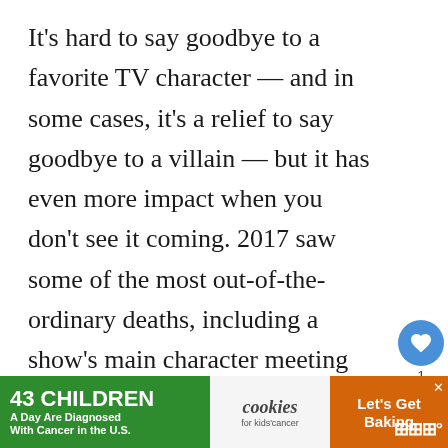It's hard to say goodbye to a favorite TV character — and in some cases, it's a relief to say goodbye to a villain — but it has even more impact when you don't see it coming. 2017 saw some of the most out-of-the-ordinary deaths, including a show's main character meeting his demise. Here's a look at the 13 most shocking deaths from TV in 2017, along with the reasons why they were just so surprising.
[Figure (infographic): Floating social action buttons: heart/like button (blue circle with heart icon, count of 1) and share button (grey circle with share icon)]
[Figure (infographic): Advertisement banner at bottom: green left section with '43 CHILDREN A Day Are Diagnosed With Cancer in the U.S.', middle section with 'cookies for kids cancer' logo, right section in orange with 'Let's Get Baking' text and CNN logo]